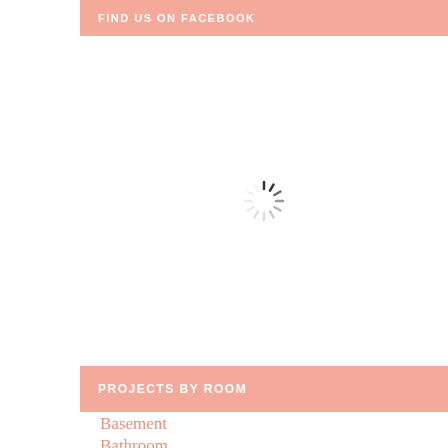FIND US ON FACEBOOK
[Figure (other): Loading spinner icon — a circular arrangement of short radial lines in dark gray, indicating a loading/pending state]
PROJECTS BY ROOM
Basement
Bathroom
Bedroom